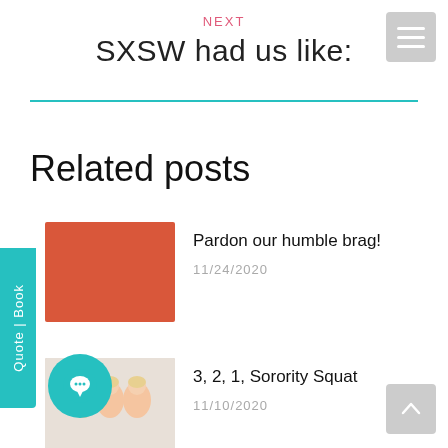NEXT
SXSW had us like:
Related posts
Pardon our humble brag!
11/24/2020
3, 2, 1, Sorority Squat
11/10/2020